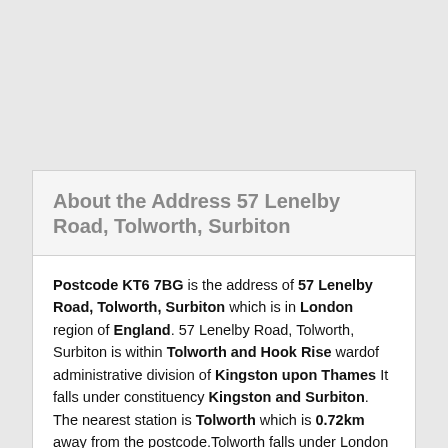About the Address 57 Lenelby Road, Tolworth, Surbiton
Postcode KT6 7BG is the address of 57 Lenelby Road, Tolworth, Surbiton which is in London region of England. 57 Lenelby Road, Tolworth, Surbiton is within Tolworth and Hook Rise wardof administrative division of Kingston upon Thames It falls under constituency Kingston and Surbiton. The nearest station is Tolworth which is 0.72km away from the postcode.Tolworth falls under London travel zone 5. The postcode KT6 7BG is under the Metropolitan police force and Thames Water is the main water supplier in the area